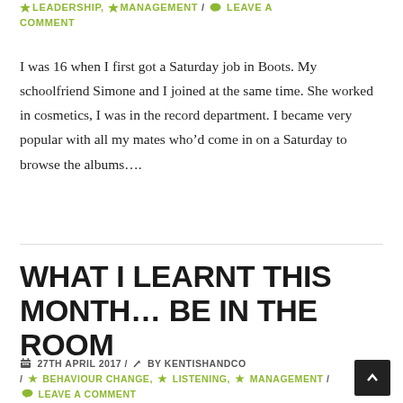LEADERSHIP, MANAGEMENT / LEAVE A COMMENT
I was 16 when I first got a Saturday job in Boots. My schoolfriend Simone and I joined at the same time. She worked in cosmetics, I was in the record department. I became very popular with all my mates who'd come in on a Saturday to browse the albums….
WHAT I LEARNT THIS MONTH… BE IN THE ROOM
27TH APRIL 2017 / BY KENTISHANDCO / BEHAVIOUR CHANGE, LISTENING, MANAGEMENT / LEAVE A COMMENT